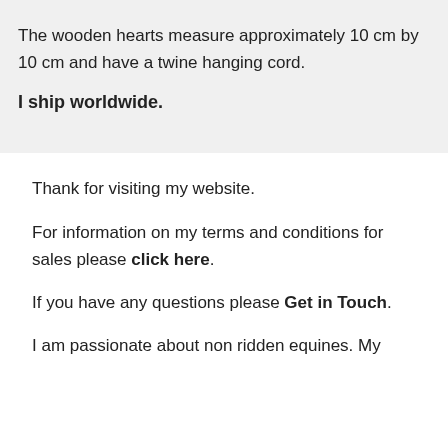The wooden hearts measure approximately 10 cm by 10 cm and have a twine hanging cord.
I ship worldwide.
Thank for visiting my website.
For information on my terms and conditions for sales please click here.
If you have any questions please Get in Touch.
I am passionate about non ridden equines. My